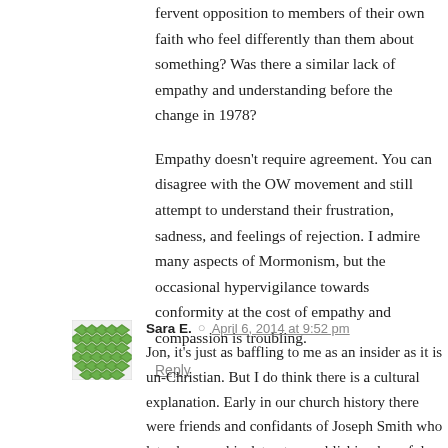fervent opposition to members of their own faith who feel differently than them about something? Was there a similar lack of empathy and understanding before the change in 1978?
Empathy doesn't require agreement. You can disagree with the OW movement and still attempt to understand their frustration, sadness, and feelings of rejection. I admire many aspects of Mormonism, but the occasional hypervigilance towards conformity at the cost of empathy and compassion is troubling.
Reply
Sara E. · April 6, 2014 at 9:52 pm
Jon, it's just as baffling to me as an insider as it is un-Christian. But I do think there is a cultural explanation. Early in our church history there were friends and confidants of Joseph Smith who later became his detractors publishing harmful things about the fledgling church. They were labeled